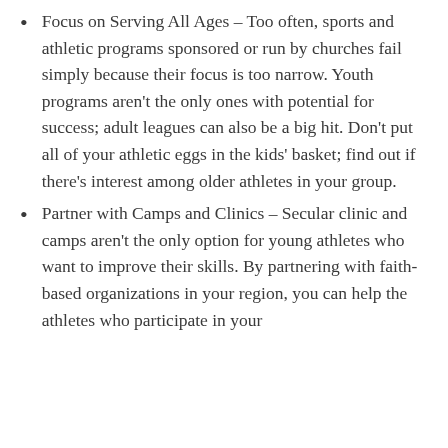Focus on Serving All Ages – Too often, sports and athletic programs sponsored or run by churches fail simply because their focus is too narrow. Youth programs aren't the only ones with potential for success; adult leagues can also be a big hit. Don't put all of your athletic eggs in the kids' basket; find out if there's interest among older athletes in your group.
Partner with Camps and Clinics – Secular clinic and camps aren't the only option for young athletes who want to improve their skills. By partnering with faith-based organizations in your region, you can help the athletes who participate in your